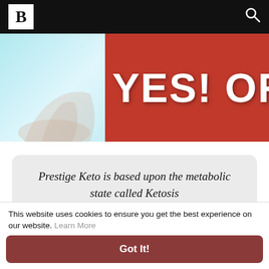B [logo] [search icon]
[Figure (photo): Partial banner image: left side shows a light blue background with a hand/arm, right side shows a red banner with white bold text 'YES! ORDER']
Prestige Keto is based upon the metabolic state called Ketosis
= Read More Here: Don't Miss Out Today's Special Offer ==
This website uses cookies to ensure you get the best experience on our website. Learn More
Got It!